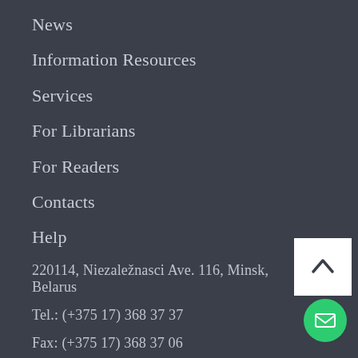News
Information Resources
Services
For Librarians
For Readers
Contacts
Help
220114, Niezaležnasci Ave. 116, Minsk, Belarus
Tel.: (+375 17) 368 37 37
Fax: (+375 17) 368 37 06